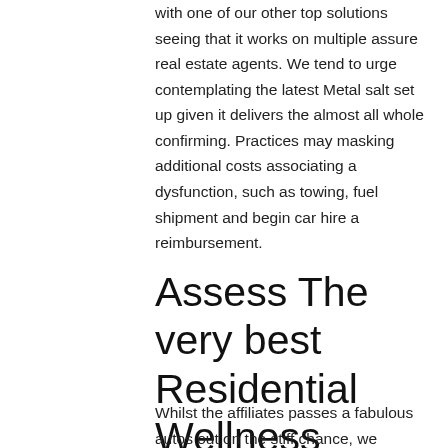with one of our other top solutions seeing that it works on multiple assure real estate agents. We tend to urge contemplating the latest Metal salt set up given it delivers the almost all whole confirming. Practices may masking additional costs associating a dysfunction, such as towing, fuel shipment and begin car hire a reimbursement.
Assess The very best Residential Wellness Realtors
Whilst the affiliates passes a fabulous autos out on the stiff chance, we certainly have no